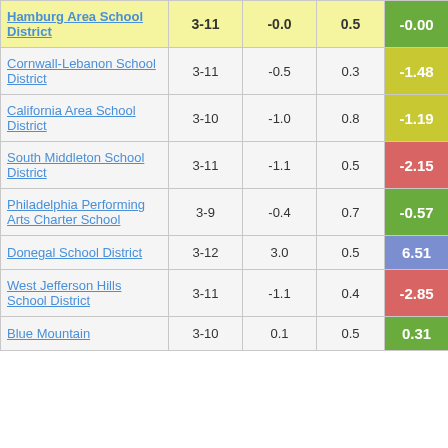| School District | Grades | Metric 1 | Metric 2 | Score |
| --- | --- | --- | --- | --- |
| Hamburg Area School District | 3-11 | -0.0 | 0.5 | -0.00 |
| Cornwall-Lebanon School District | 3-11 | -0.5 | 0.3 | -1.48 |
| California Area School District | 3-10 | -1.0 | 0.8 | -1.19 |
| South Middleton School District | 3-11 | -1.1 | 0.5 | -2.15 |
| Philadelphia Performing Arts Charter School | 3-9 | -0.4 | 0.7 | -0.57 |
| Donegal School District | 3-12 | 3.0 | 0.5 | 6.51 |
| West Jefferson Hills School District | 3-11 | -1.1 | 0.4 | -2.85 |
| Blue Mountain | 3-10 | 0.1 | 0.5 | 0.31 |